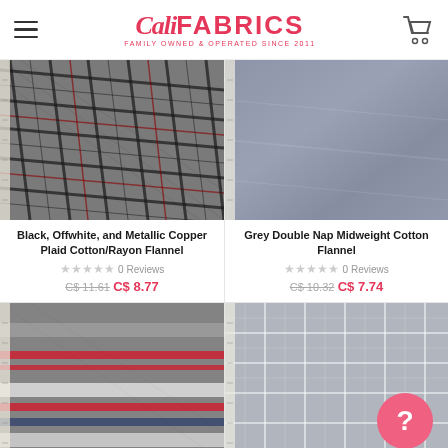Cali Fabrics – Family Owned & Operated Since 2011
[Figure (photo): Black, offwhite, and metallic copper plaid cotton/rayon flannel fabric close-up]
Black, Offwhite, and Metallic Copper Plaid Cotton/Rayon Flannel
★★★★★ 0 Reviews
C$ 11.61  C$ 8.77
[Figure (photo): Grey plain smooth double nap midweight cotton flannel fabric close-up]
Grey Double Nap Midweight Cotton Flannel
★★★★★ 0 Reviews
C$ 10.32  C$ 7.74
[Figure (photo): Grey fabric with red and navy horizontal stripes]
[Figure (photo): Grey plaid fabric with white grid lines and a pink help button overlay]